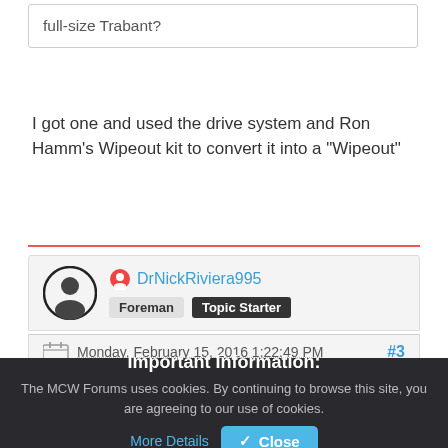full-size Trabant?
I got one and used the drive system and Ron Hamm's Wipeout kit to convert it into a "Wipeout"
DrNickRiviera995 — Foreman, Topic Starter
Monday, February 15, 2016 1:22:49 PM  #3
Important Information: The MCW Forums uses cookies. By continuing to browse this site, you are agreeing to our use of cookies. More Details  Close